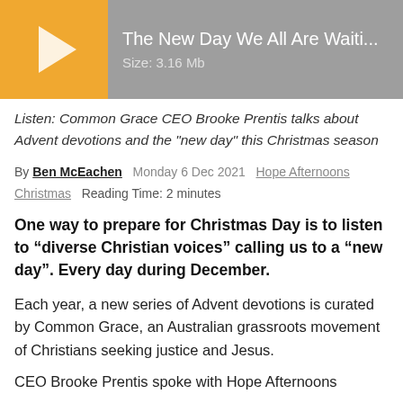[Figure (other): Audio media player widget with orange play button on left and grey background showing title 'The New Day We All Are Waiti...' and 'Size: 3.16 Mb']
Listen: Common Grace CEO Brooke Prentis talks about Advent devotions and the "new day" this Christmas season
By Ben McEachen   Monday 6 Dec 2021   Hope Afternoons   Christmas   Reading Time: 2 minutes
One way to prepare for Christmas Day is to listen to “diverse Christian voices” calling us to a “new day”. Every day during December.
Each year, a new series of Advent devotions is curated by Common Grace, an Australian grassroots movement of Christians seeking justice and Jesus.
CEO Brooke Prentis spoke with Hope Afternoons